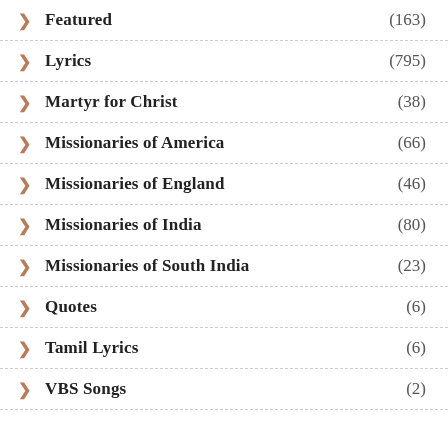Featured (163)
Lyrics (795)
Martyr for Christ (38)
Missionaries of America (66)
Missionaries of England (46)
Missionaries of India (80)
Missionaries of South India (23)
Quotes (6)
Tamil Lyrics (6)
VBS Songs (2)